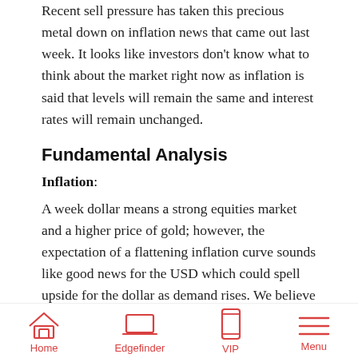Recent sell pressure has taken this precious metal down on inflation news that came out last week. It looks like investors don't know what to think about the market right now as inflation is said that levels will remain the same and interest rates will remain unchanged.
Fundamental Analysis
Inflation:
A week dollar means a strong equities market and a higher price of gold; however, the expectation of a flattening inflation curve sounds like good news for the USD which could spell upside for the dollar as demand rises. We believe this to be short term bullish sentiment on the dollar since
Home   Edgefinder   VIP   Menu